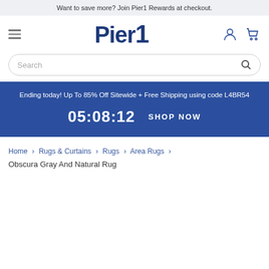Want to save more? Join Pier1 Rewards at checkout.
[Figure (logo): Pier1 logo in dark navy blue bold serif font, with hamburger menu icon on left and account/cart icons on right]
Search
Ending today! Up To 85% Off Sitewide + Free Shipping using code L4BR54
05:08:12   SHOP NOW
Home > Rugs & Curtains > Rugs > Area Rugs > Obscura Gray And Natural Rug